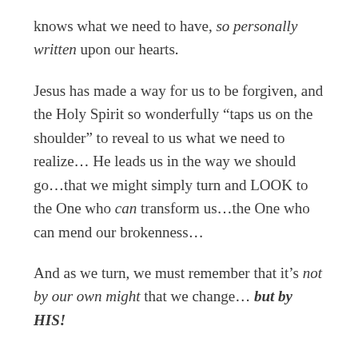knows what we need to have, so personally written upon our hearts.
Jesus has made a way for us to be forgiven, and the Holy Spirit so wonderfully “taps us on the shoulder” to reveal to us what we need to realize… He leads us in the way we should go…that we might simply turn and LOOK to the One who can transform us…the One who can mend our brokenness…
And as we turn, we must remember that it’s not by our own might that we change… but by HIS!